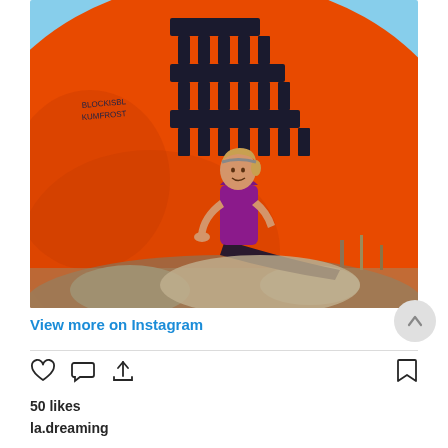[Figure (photo): Woman in purple top and dark pants sitting against a large boulder painted orange like a football with black lace stitching pattern. Blue sky visible in background. Graffiti text visible on rock reading 'BLOCKISBL KUMFROST'. Desert landscape with dry brush visible.]
View more on Instagram
50 likes
la.dreaming